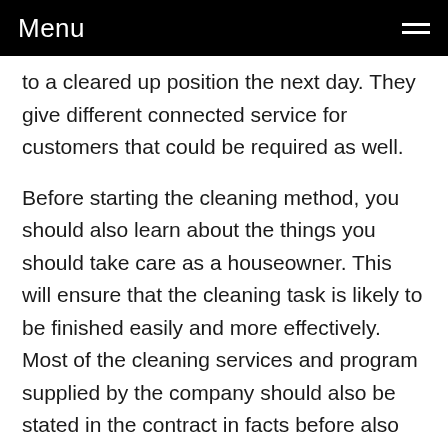Menu
to a cleared up position the next day. They give different connected service for customers that could be required as well.
Before starting the cleaning method, you should also learn about the things you should take care as a houseowner. This will ensure that the cleaning task is likely to be finished easily and more effectively. Most of the cleaning services and program supplied by the company should also be stated in the contract in facts before also beginning the process.
That will help you to eliminate the long run hassles. Selecting domestic cleaning services which have great rating and reputation on the market will also ensure